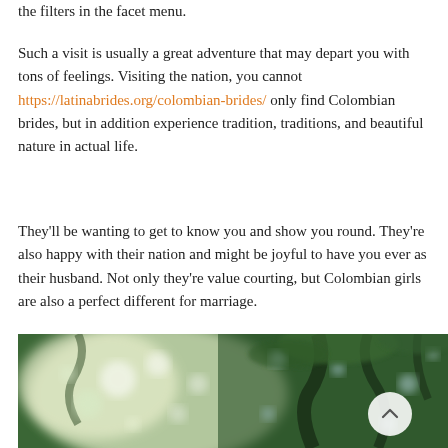the filters in the facet menu.
Such a visit is usually a great adventure that may depart you with tons of feelings. Visiting the nation, you cannot https://latinabrides.org/colombian-brides/ only find Colombian brides, but in addition experience tradition, traditions, and beautiful nature in actual life.
They'll be wanting to get to know you and show you round. They're also happy with their nation and might be joyful to have you ever as their husband. Not only they're value courting, but Colombian girls are also a perfect different for marriage.
[Figure (photo): Blurred bokeh photo of sunlight through green tree canopy with a scroll-to-top button overlay]